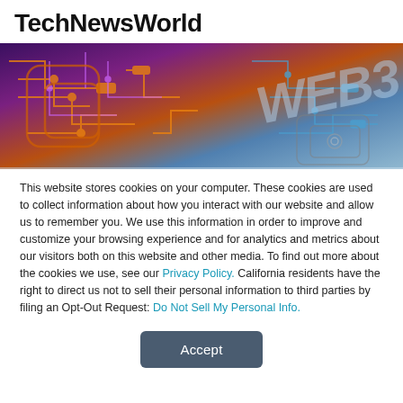TechNewsWorld
[Figure (illustration): Hero banner image showing a futuristic circuit board with purple, orange, and blue tones with 'WEB3' text overlaid in large semi-transparent letters.]
This website stores cookies on your computer. These cookies are used to collect information about how you interact with our website and allow us to remember you. We use this information in order to improve and customize your browsing experience and for analytics and metrics about our visitors both on this website and other media. To find out more about the cookies we use, see our Privacy Policy. California residents have the right to direct us not to sell their personal information to third parties by filing an Opt-Out Request: Do Not Sell My Personal Info.